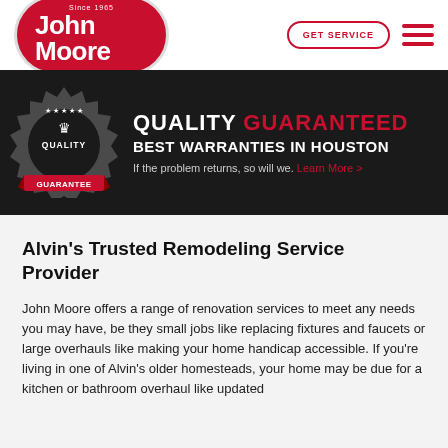[Figure (logo): John Moore Services logo — red pill-shaped badge with white text 'Since 1965' and 'John Moore' in large bold white letters]
GET SERVICE
[Figure (infographic): Dark banner with Quality Guarantee medallion badge on the left; text reads 'QUALITY GUARANTEED BEST WARRANTIES IN HOUSTON If the problem returns, so will we. Learn More >']
Alvin's Trusted Remodeling Service Provider
John Moore offers a range of renovation services to meet any needs you may have, be they small jobs like replacing fixtures and faucets or large overhauls like making your home handicap accessible. If you're living in one of Alvin's older homesteads, your home may be due for a kitchen or bathroom overhaul like updated